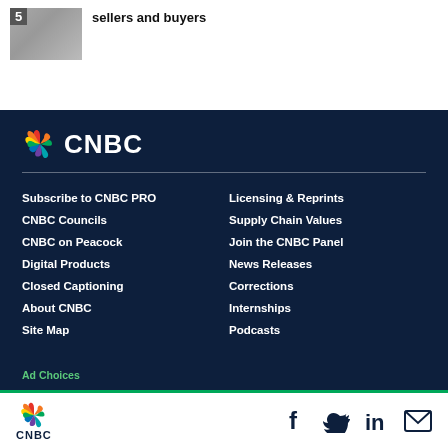[Figure (photo): Thumbnail image with number 5 badge showing people on a lawn]
sellers and buyers
[Figure (logo): CNBC peacock logo and CNBC text in white on dark navy background]
Subscribe to CNBC PRO
Licensing & Reprints
CNBC Councils
Supply Chain Values
CNBC on Peacock
Join the CNBC Panel
Digital Products
News Releases
Closed Captioning
Corrections
About CNBC
Internships
Site Map
Podcasts
CNBC logo with peacock, Facebook, Twitter, LinkedIn, Email icons